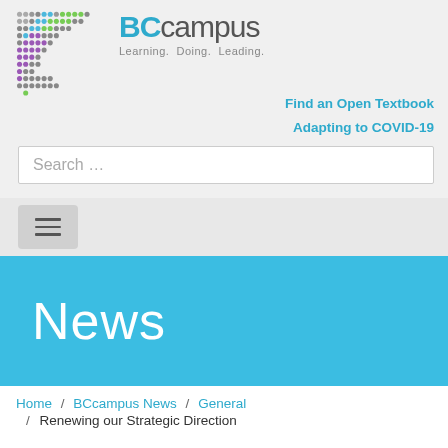[Figure (logo): BCcampus logo with dots pattern and text 'BCcampus Learning. Doing. Leading.']
Find an Open Textbook
Adapting to COVID-19
Search …
[Figure (other): Hamburger menu button with three horizontal lines]
News
Home / BCcampus News / General / Renewing our Strategic Direction